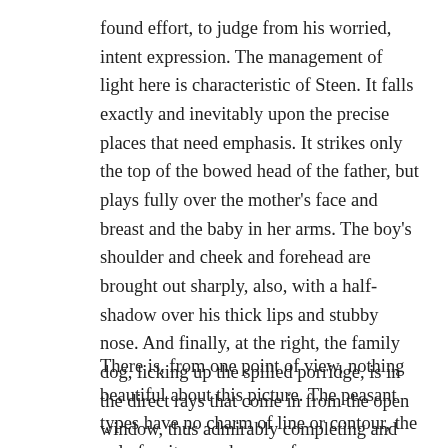found effort, to judge from his worried, intent expression. The management of light here is characteristic of Steen. It falls exactly and inevitably upon the precise places that need emphasis. It strikes only the top of the bowed head of the father, but plays fully over the mother's face and breast and the baby in her arms. The boy's shoulder and cheek and forehead are brought out sharply, also, with a half-shadow over his thick lips and stubby nose. And finally, at the right, the family dog, licking up the spilled porridge, is in the direct rays that come in from the open window, thus admirably completing and balancing the composition.
There is, from one point of view, nothing beautiful about this picture. The peasant types have no charm of line or contour, the ugly furniture and coarse fare